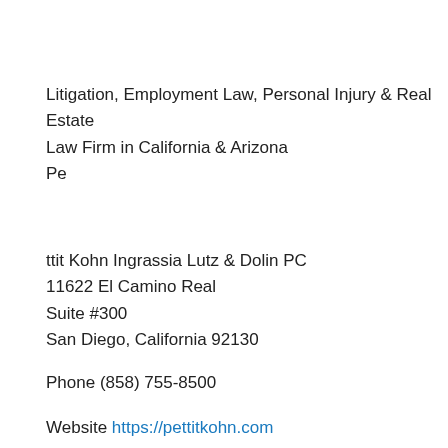Litigation, Employment Law, Personal Injury & Real Estate
Law Firm in California & Arizona
Pe
ttit Kohn Ingrassia Lutz & Dolin PC
11622 El Camino Real
Suite #300
San Diego, California 92130
Phone (858) 755-8500
Website https://pettitkohn.com